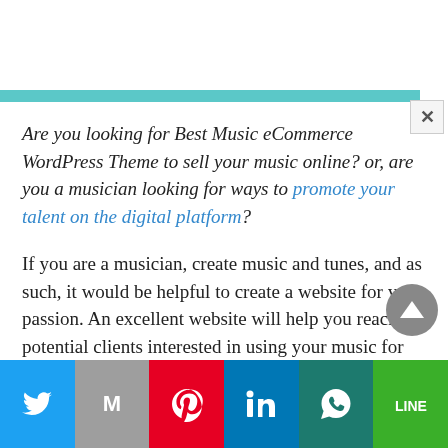[Figure (other): Teal horizontal decorative bar and close (X) button for a popup/modal overlay]
Are you looking for Best Music eCommerce WordPress Theme to sell your music online? or, are you a musician looking for ways to promote your talent on the digital platform?
If you are a musician, create music and tunes, and as such, it would be helpful to create a website for your passion. An excellent website will help you reach potential clients interested in using your music for their work. However, we do know how
[Figure (other): Social share bar at bottom with Twitter, Gmail/Email, Pinterest, LinkedIn, WhatsApp, and LINE buttons]